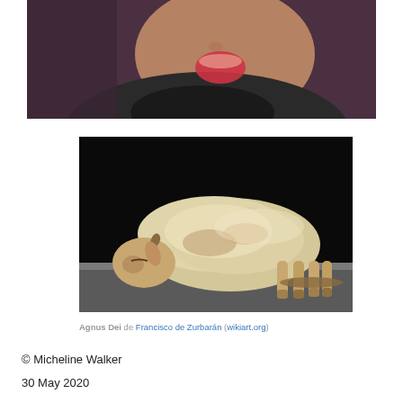[Figure (photo): Close-up photo of a woman singing or performing, mouth open, wearing dark clothing, blurred background]
[Figure (photo): Painting of a lamb (Agnus Dei) lying on its side with legs bound, dark background, by Francisco de Zurbarán]
Agnus Dei de Francisco de Zurbarán (wikiart.org)
© Micheline Walker
30 May 2020